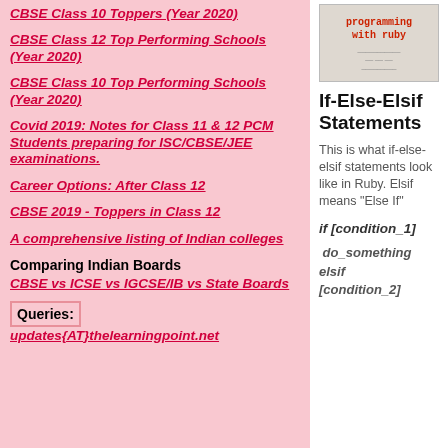CBSE Class 10 Toppers (Year 2020)
CBSE Class 12 Top Performing Schools (Year 2020)
CBSE Class 10 Top Performing Schools (Year 2020)
Covid 2019: Notes for Class 11 & 12 PCM Students preparing for ISC/CBSE/JEE examinations.
Career Options: After Class 12
CBSE 2019 - Toppers in Class 12
A comprehensive listing of Indian colleges
Comparing Indian Boards CBSE vs ICSE vs IGCSE/IB vs State Boards
Queries: updates{AT}thelearningpoint.net
[Figure (screenshot): Book cover thumbnail for 'programming with ruby']
If-Else-Elsif Statements
This is what if-else-elsif statements look like in Ruby. Elsif means "Else If"
if [condition_1]
do_something elsif [condition_2]